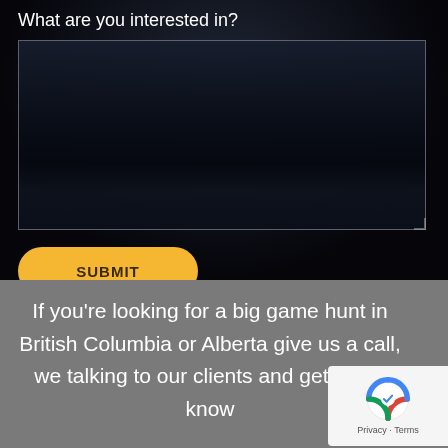What are you interested in?
[Figure (screenshot): Dark textarea input box with a faint landscape image visible inside, with a resize handle at bottom right]
SUBMIT
If you're looking for a big game hunt in British Columbia or Alberta give us a call, we talking to our clients and getting to know
[Figure (logo): Google reCAPTCHA badge with Privacy and Terms links]